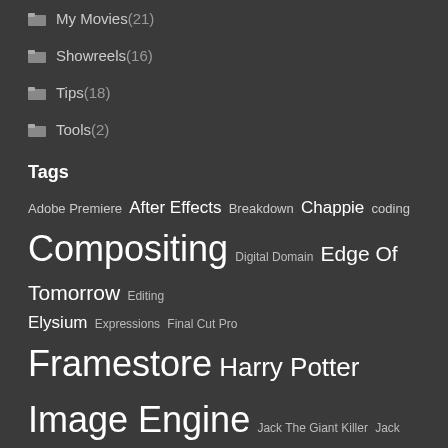My Movies (21)
Showreels (16)
Tips (18)
Tools (2)
Tags
Adobe Premiere After Effects Breakdown Chappie coding Compositing Digital Domain Edge Of Tomorrow Editing Elysium Expressions Final Cut Pro Framestore Harry Potter Image Engine Jack The Giant Killer Jack The Giant Slayer Jurassic World London Lone Survivor MPC Nanny McPhee Neill Blomkamp News Nuke Photography python R.I.P.D Review Rig Removal Roto Salt Shake Sherlock Holmes Showreel Silhouette Sony Imageworks Stereoscopic 3D Thoughts Tims Trailer Video